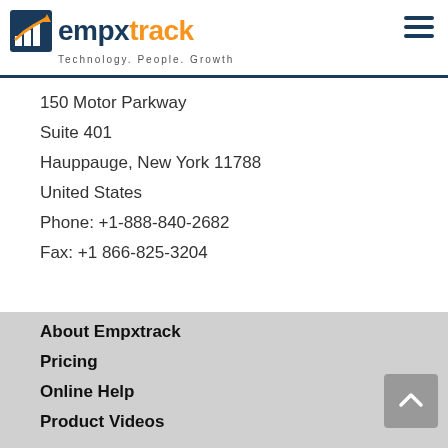[Figure (logo): Empxtrack logo with chart icon, text 'empxtrack' in dark blue and orange, tagline 'Technology. People. Growth']
150 Motor Parkway
Suite 401
Hauppauge, New York 11788
United States
Phone: +1-888-840-2682
Fax: +1 866-825-3204
About Empxtrack
Pricing
Online Help
Product Videos